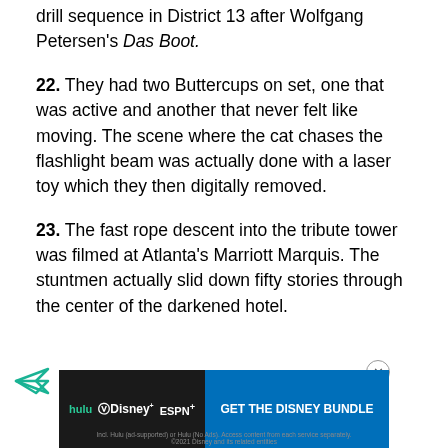drill sequence in District 13 after Wolfgang Petersen's Das Boot.
22. They had two Buttercups on set, one that was active and another that never felt like moving. The scene where the cat chases the flashlight beam was actually done with a laser toy which they then digitally removed.
23. The fast rope descent into the tribute tower was filmed at Atlanta's Marriott Marquis. The stuntmen actually slid down fifty stories through the center of the darkened hotel.
[Figure (other): Advertisement banner for Disney Bundle (Hulu, Disney+, ESPN+) with blue call-to-action button]